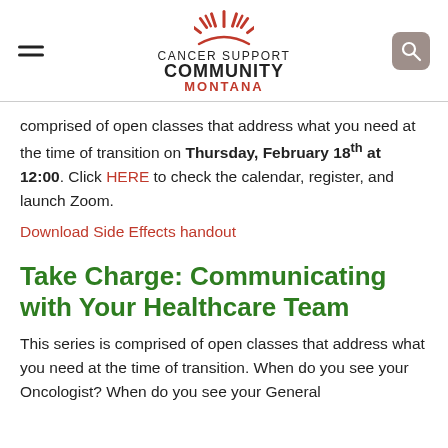Cancer Support Community Montana
comprised of open classes that address what you need at the time of transition on Thursday, February 18th at 12:00. Click HERE to check the calendar, register, and launch Zoom.
Download Side Effects handout
Take Charge: Communicating with Your Healthcare Team
This series is comprised of open classes that address what you need at the time of transition. When do you see your Oncologist? When do you see your General